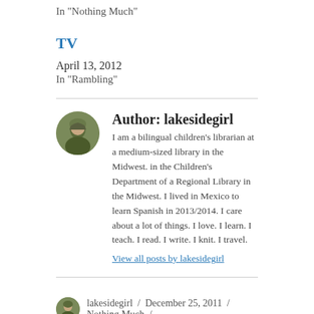In "Nothing Much"
TV
April 13, 2012
In "Rambling"
Author: lakesidegirl
I am a bilingual children's librarian at a medium-sized library in the Midwest. in the Children's Department of a Regional Library in the Midwest. I lived in Mexico to learn Spanish in 2013/2014. I care about a lot of things. I love. I learn. I teach. I read. I write. I knit. I travel.
View all posts by lakesidegirl
lakesidegirl / December 25, 2011 / Nothing Much / 2011, Christmas, not my problem